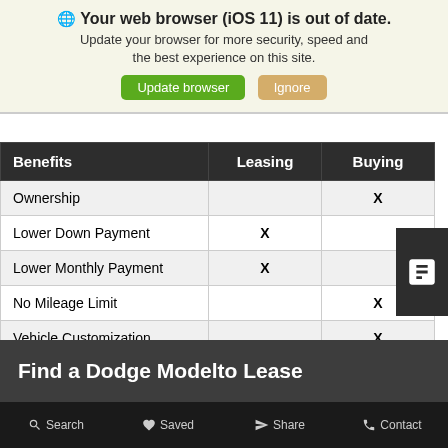🌐 Your web browser (iOS 11) is out of date. Update your browser for more security, speed and the best experience on this site.
| Benefits | Leasing | Buying |
| --- | --- | --- |
| Ownership |  | X |
| Lower Down Payment | X |  |
| Lower Monthly Payment | X |  |
| No Mileage Limit |  | X |
| Vehicle Customization |  | X |
| Easier Trade In | X |  |
Find a Dodge Modelto Lease
Search   Saved   Share   Contact